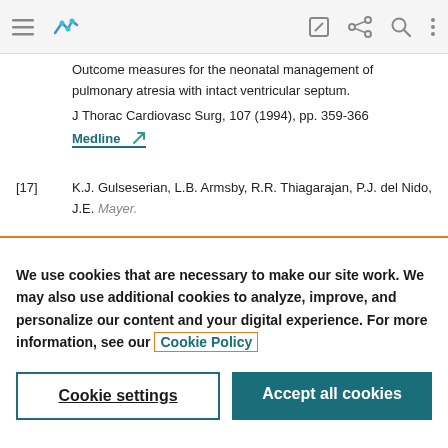Navigation bar with menu, logo, edit, share, search, and more icons
Outcome measures for the neonatal management of pulmonary atresia with intact ventricular septum.
J Thorac Cardiovasc Surg, 107 (1994), pp. 359-366
Medline ↗
[17] K.J. Gulseserian, L.B. Armsby, R.R. Thiagarajan, P.J. del Nido, J.E. Mayer.
We use cookies that are necessary to make our site work. We may also use additional cookies to analyze, improve, and personalize our content and your digital experience. For more information, see our Cookie Policy
Cookie settings
Accept all cookies